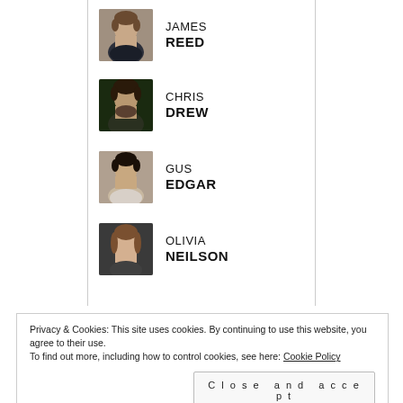[Figure (photo): Headshot of James Reed, a man with short brown hair, wearing a dark top]
JAMES
REED
[Figure (photo): Headshot of Chris Drew, a man with dark hair and beard, in front of bokeh lights]
CHRIS
DREW
[Figure (photo): Headshot of Gus Edgar, a young man with dark hair, wearing a light shirt]
GUS
EDGAR
[Figure (photo): Headshot of Olivia Neilson, a woman with shoulder-length brown hair, wearing a dark top]
OLIVIA
NEILSON
Privacy & Cookies: This site uses cookies. By continuing to use this website, you agree to their use.
To find out more, including how to control cookies, see here: Cookie Policy
Close and accept